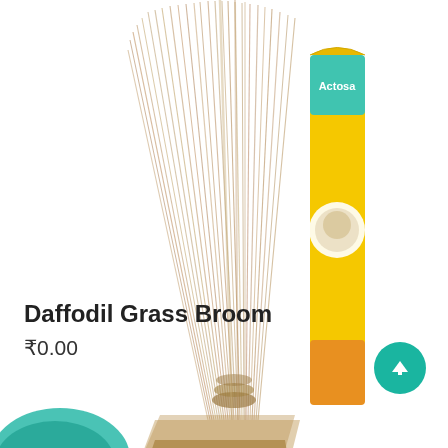[Figure (photo): Product photo showing a Daffodil grass broom (natural straw broom) with a yellow branded packet/label beside it, on a white background.]
Daffodil Grass Broom
₹0.00
[Figure (photo): Partial view of another product at the bottom-left corner showing teal/green colored item.]